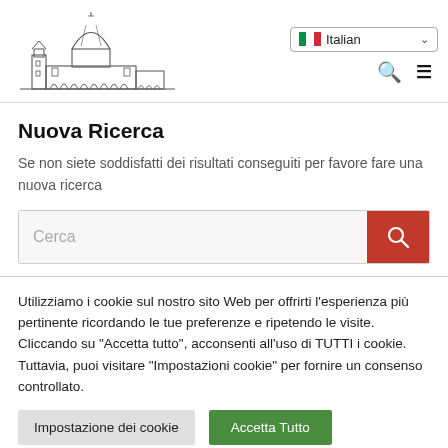[Figure (logo): Line-art skyline logo of Florence (Duomo cathedral silhouette)]
Nuova Ricerca
Se non siete soddisfatti dei risultati conseguiti per favore fare una nuova ricerca
Cerca (search input box with red search button)
Utilizziamo i cookie sul nostro sito Web per offrirti l'esperienza più pertinente ricordando le tue preferenze e ripetendo le visite. Cliccando su "Accetta tutto", acconsenti all'uso di TUTTI i cookie. Tuttavia, puoi visitare "Impostazioni cookie" per fornire un consenso controllato.